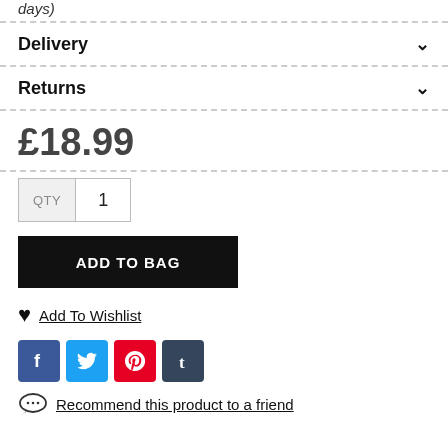days)
Delivery
Returns
£18.99
QTY  1
ADD TO BAG
Add To Wishlist
[Figure (other): Social media icons: Facebook, Twitter, Pinterest, Tumblr]
Recommend this product to a friend